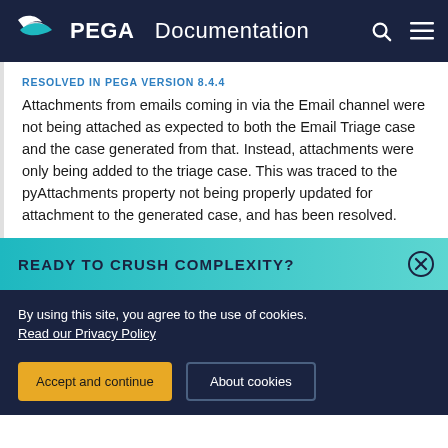PEGA Documentation
RESOLVED IN PEGA VERSION 8.4.4
Attachments from emails coming in via the Email channel were not being attached as expected to both the Email Triage case and the case generated from that. Instead, attachments were only being added to the triage case. This was traced to the pyAttachments property not being properly updated for attachment to the generated case, and has been resolved.
READY TO CRUSH COMPLEXITY?
By using this site, you agree to the use of cookies. Read our Privacy Policy
Accept and continue   About cookies